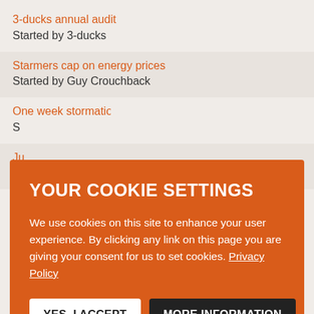3-ducks annual audit
Started by 3-ducks
Starmers cap on energy prices
Started by Guy Crouchback
One week stormation in London - hit me with ideas
S[clipped]
Ju[clipped]
S[clipped]
If[clipped]
s[clipped]
b[clipped]
S[clipped]
[Figure (screenshot): Cookie consent overlay with orange background. Title: YOUR COOKIE SETTINGS. Body: We use cookies on this site to enhance your user experience. By clicking any link on this page you are giving your consent for us to set cookies. Privacy Policy. Buttons: YES, I ACCEPT and MORE INFORMATION.]
S[clipped] you draft this as a thing
Started by High Guise
If you won the lottery
Started by failed in london
If you started your own law firm tomorrow, how long